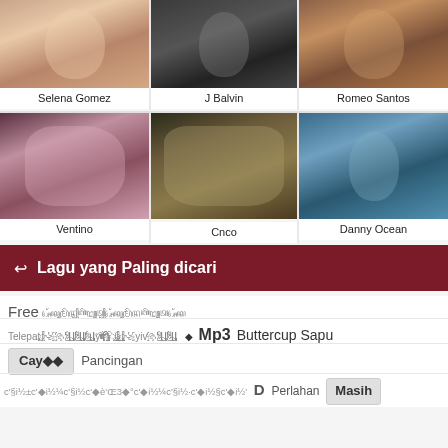[Figure (photo): Photo of Selena Gomez, female artist with long straight brown hair]
Selena Gomez
[Figure (photo): Photo of J Balvin, male artist in black leather jacket pointing at camera]
J Balvin
[Figure (photo): Photo of Romeo Santos, male artist smiling in brown jacket]
Romeo Santos
[Figure (photo): Photo of Ventino, group of young women]
Ventino
[Figure (photo): Photo of Cnco, group of young men in suits]
Cnco
[Figure (photo): Photo of Danny Ocean, male artist standing by the beach]
Danny Ocean
Lagu yang Paling dicari
Free ꦄꦁꦏꦸꦩꦼꦤ꧀ꦚꦼꦧꦸꦠ꧀
Telepat꧀꧁꧂꧃꧄꧅y꦳ꦴꦵꦶꦷꦸꦹꦺꦻꦼꦽꦾꦿ꧀꧁yiv꧂꧃꧄ ◆ Mp3 Buttercup Sapu
Cay◆◆ Pancingan
c'§i½±c'◆i½¼c'§i½c'◆è'Œ3◆°c'◆i½¼c'§i½·c'◆i½§c'◆i½' D Perlahan Masih